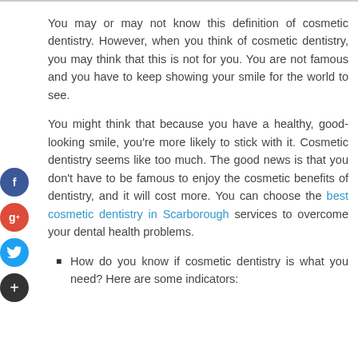You may or may not know this definition of cosmetic dentistry. However, when you think of cosmetic dentistry, you may think that this is not for you. You are not famous and you have to keep showing your smile for the world to see.
You might think that because you have a healthy, good-looking smile, you're more likely to stick with it. Cosmetic dentistry seems like too much. The good news is that you don't have to be famous to enjoy the cosmetic benefits of dentistry, and it will cost more. You can choose the best cosmetic dentistry in Scarborough services to overcome your dental health problems.
How do you know if cosmetic dentistry is what you need? Here are some indicators: